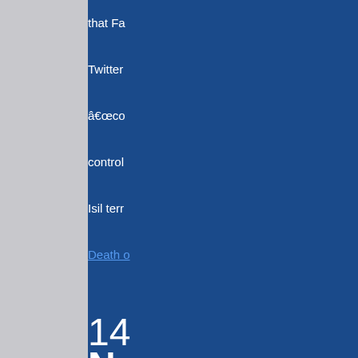that Fa[cebook]
Twitter
“co[ntent]
control
Isil terr[orism]
Death o[f...]
14 Nove[mber]
The Ri[ght]
Democ[racy]
We hav[e]
posts u[p]
collecti[on]
"Death
Democ[racy]
sensati[onalism]
but new[s]